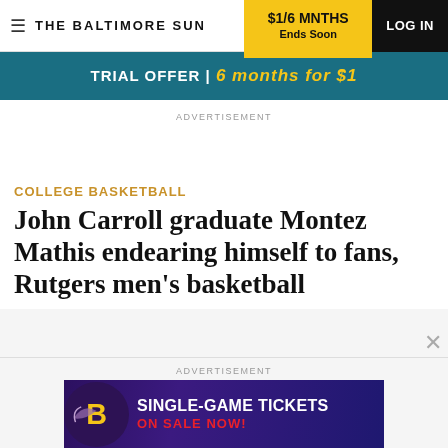THE BALTIMORE SUN | $1/6 MNTHS Ends Soon | LOG IN
TRIAL OFFER | 6 months for $1
ADVERTISEMENT
COLLEGE BASKETBALL
John Carroll graduate Montez Mathis endearing himself to fans, Rutgers men's basketball
ADVERTISEMENT
[Figure (other): Baltimore Ravens single-game tickets advertisement banner with Ravens logo and text: SINGLE-GAME TICKETS ON SALE NOW!]